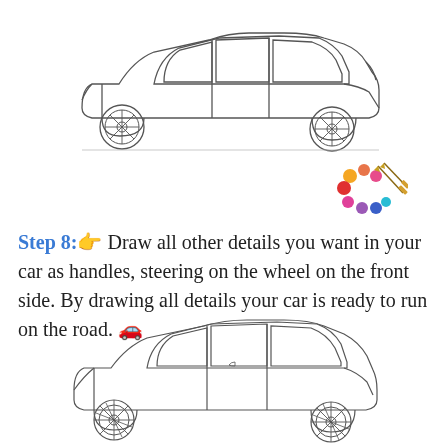[Figure (illustration): Line drawing of a sedan car from the side view, showing wheels with spokes, windows, and car body outline. Top car illustration.]
[Figure (illustration): Artist palette emoji with colorful dots and two paintbrushes.]
Step 8: 👉 Draw all other details you want in your car as handles, steering on the wheel on the front side. By drawing all details your car is ready to run on the road. 🚗
[Figure (illustration): Line drawing of a sedan car from the side view, showing wheels with spokes, windows, and car body outline. Bottom car illustration.]